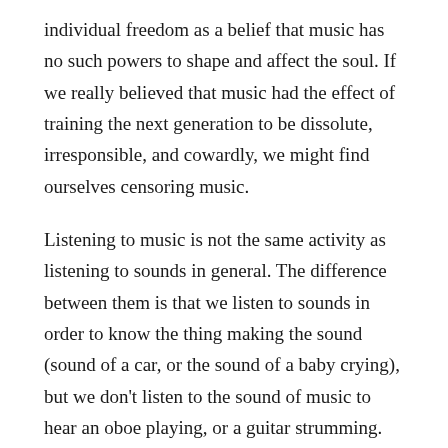individual freedom as a belief that music has no such powers to shape and affect the soul. If we really believed that music had the effect of training the next generation to be dissolute, irresponsible, and cowardly, we might find ourselves censoring music.
Listening to music is not the same activity as listening to sounds in general. The difference between them is that we listen to sounds in order to know the thing making the sound (sound of a car, or the sound of a baby crying), but we don't listen to the sound of music to hear an oboe playing, or a guitar strumming. Rather, we listen to hear the sound it is making. We may recognize the sound comes from an oboe, but we want to hear what the oboe is playing. There is the